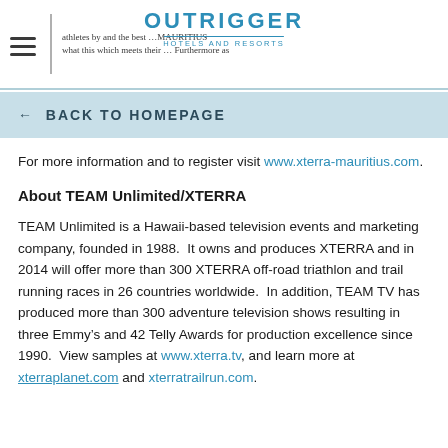OUTRIGGER HOTELS AND RESORTS
BACK TO HOMEPAGE
For more information and to register visit www.xterra-mauritius.com.
About TEAM Unlimited/XTERRA
TEAM Unlimited is a Hawaii-based television events and marketing company, founded in 1988. It owns and produces XTERRA and in 2014 will offer more than 300 XTERRA off-road triathlon and trail running races in 26 countries worldwide. In addition, TEAM TV has produced more than 300 adventure television shows resulting in three Emmy’s and 42 Telly Awards for production excellence since 1990. View samples at www.xterra.tv, and learn more at xterraplanet.com and xterratrailrun.com.